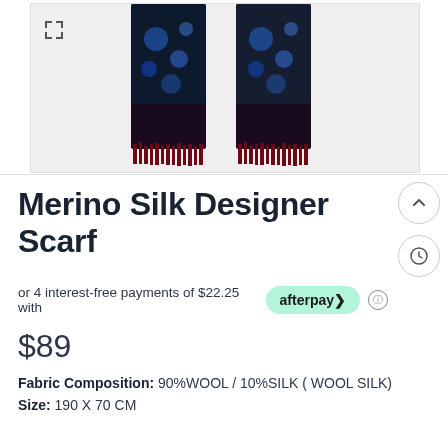[Figure (photo): Product photo of a Merino Silk Designer Scarf showing two ends of a dark navy/burgundy scarf with blue floral patterns and fringe ends, displayed against a white background. An expand/fullscreen icon is visible in the upper left corner of the image container.]
Merino Silk Designer Scarf
or 4 interest-free payments of $22.25 with afterpay>
$89
Fabric Composition: 90%WOOL / 10%SILK ( WOOL SILK)
Size: 190 X 70 CM